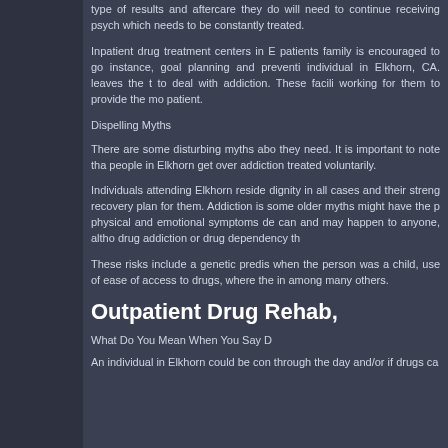type of results and aftercare they do will need to continue receiving psych which needs to be constantly treated.
Inpatient drug treatment centers in E patients family is encouraged to go instance, goal planning and preventi individual in Elkhorn, CA. leaves the t to deal with addiction. These facili working for them to provide the mo patient.
Dispelling Myths
There are some disturbing myths abo they need. It is important to note tha people in Elkhorn get over addiction treated voluntarily.
Individuals attending Elkhorn reside dignity in all cases and their streng recovery plan for them. Addiction is some older myths might have the p physical and emotional symptoms de can and may happen to anyone, altho drug addiction or drug dependency th
These risks include a genetic predis when the person was a child, use of ease of access to drugs, where the in among many others.
Outpatient Drug Rehab,
What Do You Mean When You Say D
An individual in Elkhorn could be con through the day and/or if drugs ca